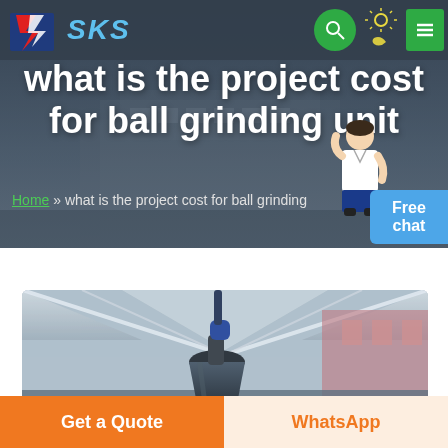[Figure (screenshot): SKS company website screenshot showing navigation bar with logo, search button, theme toggle, and menu button on a dark semi-transparent background over a building photo]
what is the project cost for ball grinding unit
Home » what is the project cost for ball grinding
[Figure (photo): Industrial machinery inside a warehouse/facility showing a large dark-colored ball mill or grinding unit under a metal roof structure]
Get a Quote
WhatsApp